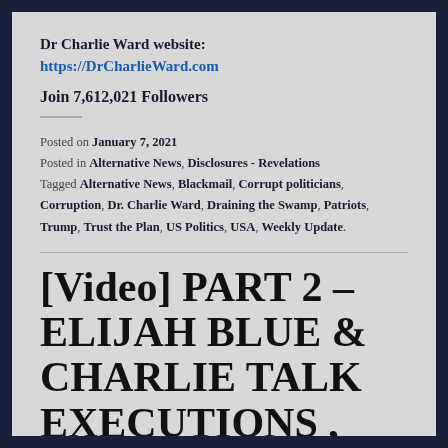Dr Charlie Ward website:
https://DrCharlieWard.com
Join 7,612,021 Followers
Posted on January 7, 2021
Posted in Alternative News, Disclosures - Revelations
Tagged Alternative News, Blackmail, Corrupt politicians, Corruption, Dr. Charlie Ward, Draining the Swamp, Patriots, Trump, Trust the Plan, US Politics, USA, Weekly Update.
[Video] PART 2 – ELIJAH BLUE & CHARLIE TALK EXECUTIONS , VACCINES, QFS , XRP AND MORE